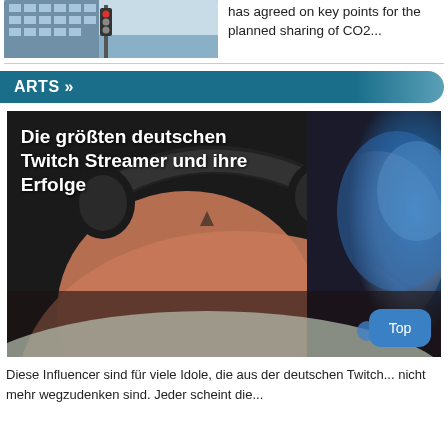[Figure (photo): Building with glass facade and traffic light, cropped at top]
has agreed on key points for the planned sharing of CO2...
ARTS »
[Figure (photo): Person wearing gaming headset at a computer, viewed from behind/side, with screen glow in background]
Die größten deutschen Twitch Streamer und ihre Erfolge
Diese Influencer sind für viele Idole, die aus der deutschen Twitch... nicht mehr wegzudenken sind. Jeder scheint die...